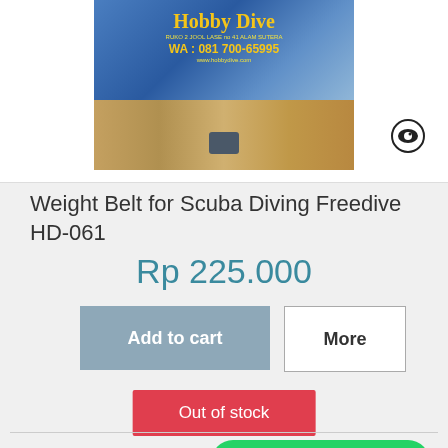[Figure (photo): Product photo of a weight belt for scuba diving with Hobby Dive shop branding overlay, showing a blue belt with a metal buckle on a wooden surface background.]
Weight Belt for Scuba Diving Freedive HD-061
Rp 225.000
Add to cart
More
Out of stock
+ Add to Compare
How can we help you?